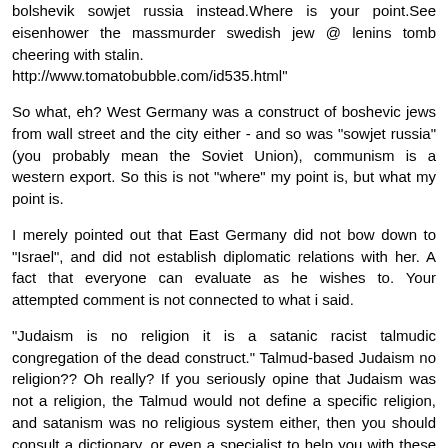bolshevik sowjet russia instead.Where is your point.See eisenhower the massmurder swedish jew @ lenins tomb cheering with stalin.
http://www.tomatobubble.com/id535.html"
So what, eh? West Germany was a construct of boshevic jews from wall street and the city either - and so was "sowjet russia" (you probably mean the Soviet Union), communism is a western export. So this is not "where" my point is, but what my point is.
I merely pointed out that East Germany did not bow down to "Israel", and did not establish diplomatic relations with her. A fact that everyone can evaluate as he wishes to. Your attempted comment is not connected to what i said.
"Judaism is no religion it is a satanic racist talmudic congregation of the dead construct." Talmud-based Judaism no religion?? Oh really? If you seriously opine that Judaism was not a religion, the Talmud would not define a specific religion, and satanism was no religious system either, then you should consult a dictionary, or even a specialist to help you with these issues.